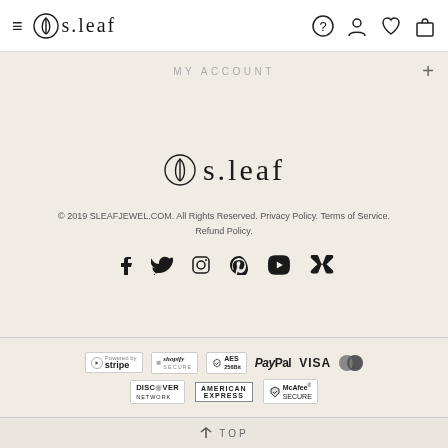s.leaf navigation header with hamburger menu, logo, and icons for help, account, wishlist, cart
MY ACCOUNT
[Figure (logo): s.leaf brand logo centered on page with leaf icon]
© 2019 SLEAFJEWEL.COM. All Rights Reserved. Privacy Policy. Terms of Service. Refund Policy.
[Figure (infographic): Social media icons row: Facebook, Twitter, Instagram, Pinterest, YouTube, VK]
[Figure (infographic): Payment badges: Stripe, Shopify Secure, AES 256Bit, PayPal, VISA, Mastercard, Discover Network, American Express, McAfee Secure]
TOP